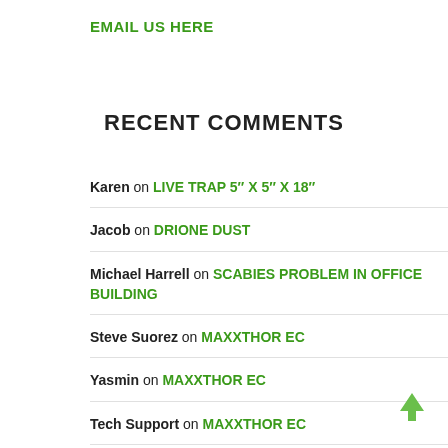EMAIL US HERE
RECENT COMMENTS
Karen on LIVE TRAP 5″ X 5″ X 18″
Jacob on DRIONE DUST
Michael Harrell on SCABIES PROBLEM IN OFFICE BUILDING
Steve Suorez on MAXXTHOR EC
Yasmin on MAXXTHOR EC
Tech Support on MAXXTHOR EC
Steve on MAXXTHOR EC